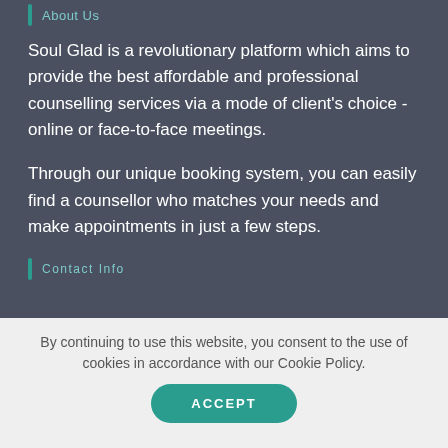About Us
Soul Glad is a revolutionary platform which aims to provide the best affordable and professional counselling services via a mode of client's choice - online or face-to-face meetings.
Through our unique booking system, you can easily find a counsellor who matches your needs and make appointments in just a few steps.
Contact Info
By continuing to use this website, you consent to the use of cookies in accordance with our Cookie Policy.
ACCEPT